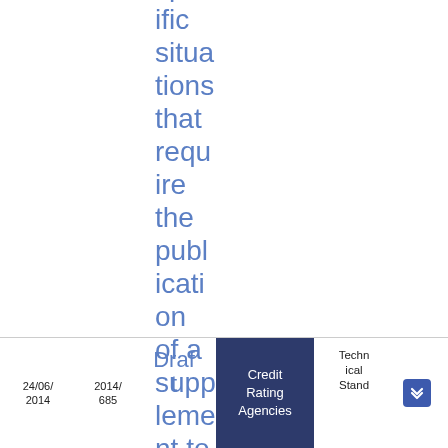specific situations that require the publication of a supplement to the prospectus
24/06/2014 | 2014/685 | Draft | Credit Rating Agencies | Technical Stand... | PDF